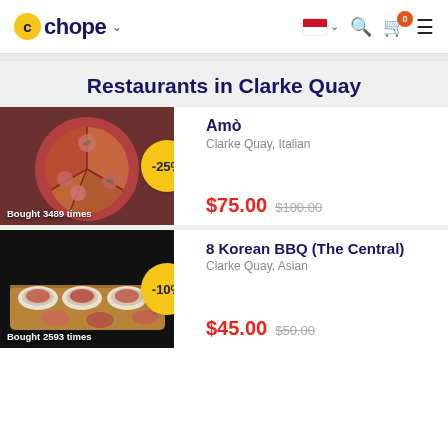Chope — Restaurants in Clarke Quay
Restaurants in Clarke Quay
Amò
Clarke Quay, Italian
-25%
Bought 3489 times
$75.00  $100.00
8 Korean BBQ (The Central)
Clarke Quay, Asian
-10%
Bought 2593 times
$45.00  $50.00